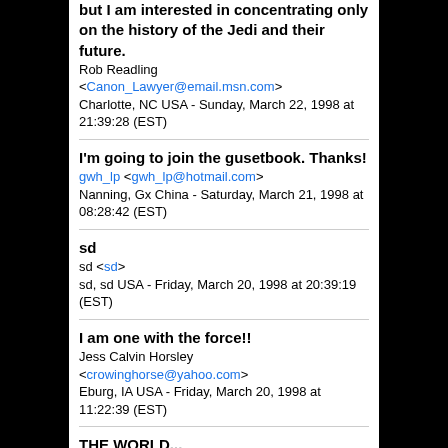but I am interested in concentrating only on the history of the Jedi and their future.
Rob Readling <Canon_Lawyer@email.msn.com>
Charlotte, NC USA - Sunday, March 22, 1998 at 21:39:28 (EST)
I'm going to join the gusetbook. Thanks!
gwh_lp <gwh_lp@hotmail.com>
Nanning, Gx China - Saturday, March 21, 1998 at 08:28:42 (EST)
sd
sd <sd>
sd, sd USA - Friday, March 20, 1998 at 20:39:19 (EST)
I am one with the force!!
Jess Calvin Horsley <crowinghorse@yahoo.com>
Eburg, IA USA - Friday, March 20, 1998 at 11:22:39 (EST)
THE WORLD...